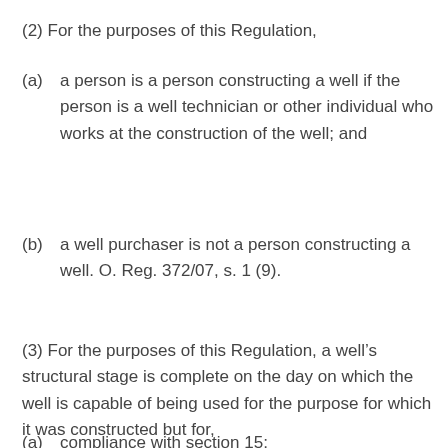(2) For the purposes of this Regulation,
(a) a person is a person constructing a well if the person is a well technician or other individual who works at the construction of the well; and
(b) a well purchaser is not a person constructing a well. O. Reg. 372/07, s. 1 (9).
(3) For the purposes of this Regulation, a well’s structural stage is complete on the day on which the well is capable of being used for the purpose for which it was constructed but for,
(a) compliance with section 15;